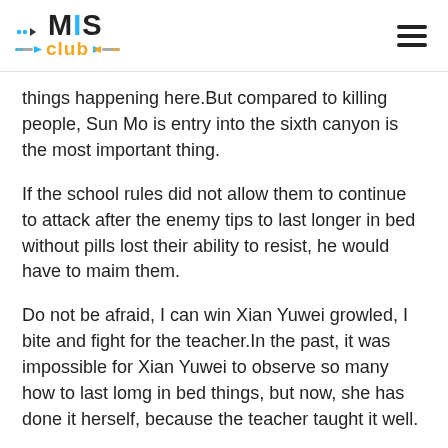MIS Club
things happening here.But compared to killing people, Sun Mo is entry into the sixth canyon is the most important thing.
If the school rules did not allow them to continue to attack after the enemy tips to last longer in bed without pills lost their ability to resist, he would have to maim them.
Do not be afraid, I can win Xian Yuwei growled, I bite and fight for the teacher.In the past, it was impossible for Xian Yuwei to observe so many how to last lomg in bed things, but now, she has done it herself, because the teacher taught it well.